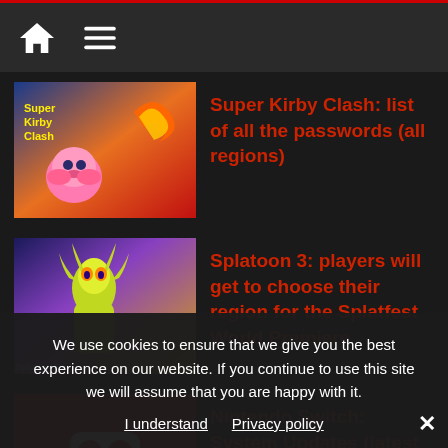Navigation bar with home and menu icons
Super Kirby Clash: list of all the passwords (all regions)
Splatoon 3: players will get to choose their region for the Splatfest World Premiere
Nintendo Switch: System Updates (latest update: Ver. 14.1.2 – Rebootless 2)
Psychic Sp... all the passwords, ch... codes...
We use cookies to ensure that we give you the best experience on our website. If you continue to use this site we will assume that you are happy with it. I understand  Privacy policy